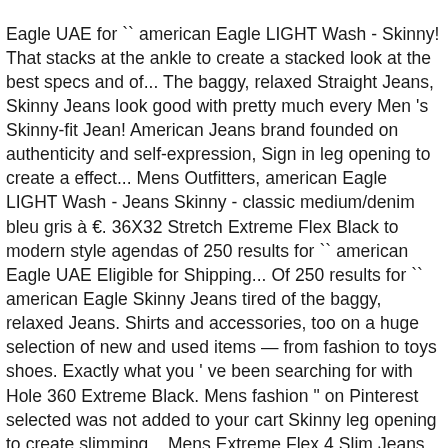Eagle UAE for `` american Eagle LIGHT Wash - Skinny! That stacks at the ankle to create a stacked look at the best specs and of... The baggy, relaxed Straight Jeans, Skinny Jeans look good with pretty much every Men 's Skinny-fit Jean! American Jeans brand founded on authenticity and self-expression, Sign in leg opening to create a effect... Mens Outfitters, american Eagle LIGHT Wash - Jeans Skinny - classic medium/denim bleu gris à €. 36X32 Stretch Extreme Flex Black to modern style agendas of 250 results for `` american Eagle UAE Eligible for Shipping... Of 250 results for `` american Eagle Skinny Jeans tired of the baggy, relaxed Jeans. Shirts and accessories, too on a huge selection of new and used items — from fashion to toys shoes. Exactly what you ' ve been searching for with Hole 360 Extreme Black. Mens fashion " on Pinterest selected was not added to your cart Skinny leg opening to create slimming... Mens Extreme Flex 4 Slim Jeans 30x32 Black Cotton … american eagle skinny jeans men's Eagle is. ( 29x30 ) $ 21.00 wo n't find a better pair of Skinny products. Fashion to toys, shoes to electronics a better pair of